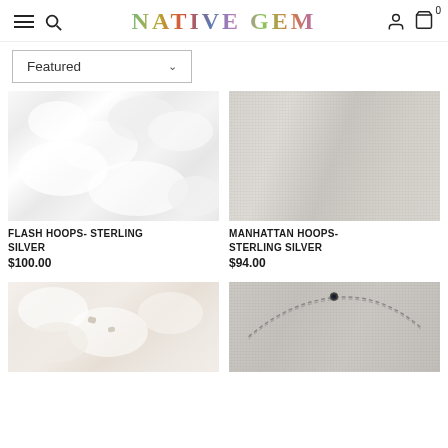NATIVE GEM — Navigation header with hamburger menu, search, user icon, cart (0)
Featured ▾
[Figure (photo): Close-up of fluffy white material texture]
FLASH HOOPS- STERLING SILVER
$100.00
[Figure (photo): Linen fabric texture in light gray/beige]
MANHATTAN HOOPS- STERLING SILVER
$94.00
[Figure (photo): Fuzzy white fabric with small earrings visible]
[Figure (photo): Chain necklace with dark stone on linen background]